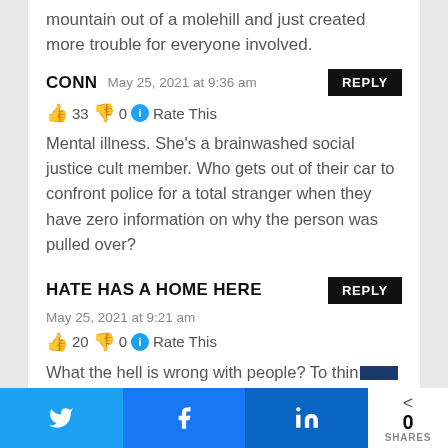mountain out of a molehill and just created more trouble for everyone involved.
CONN  May 25, 2021 at 9:36 am  REPLY
👍 33 👎 0 ℹ️ Rate This
Mental illness. She's a brainwashed social justice cult member. Who gets out of their car to confront police for a total stranger when they have zero information on why the person was pulled over?
HATE HAS A HOME HERE  May 25, 2021 at 9:21 am  REPLY
👍 20 👎 0 ℹ️ Rate This
What the hell is wrong with people? To think
0 SHARES